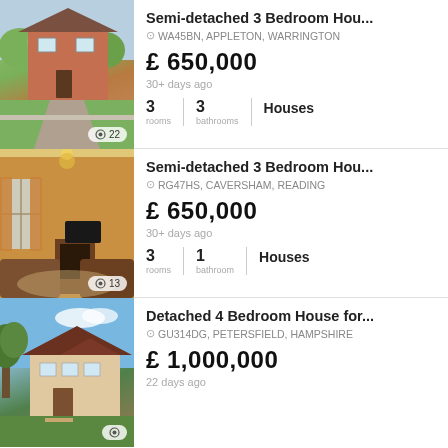[Figure (photo): Exterior photo of a semi-detached brick house with garden and driveway, photo count badge showing 22]
Semi-detached 3 Bedroom Hou...
WA45BN, APPLETON, WARRINGTON
£ 650,000
30+ days ago
3 rooms | 3 bathrooms | Houses
[Figure (photo): Interior living room photo with fireplace, sofas, and warm orange walls, photo count badge showing 13]
Semi-detached 3 Bedroom Hou...
RG47HS, CAVERSHAM, READING
£ 650,000
30+ days ago
3 rooms | 1 bathroom | Houses
[Figure (photo): Exterior aerial photo of a large detached house with trees, photo count badge partially visible]
Detached 4 Bedroom House for...
GU314DG, PETERSFIELD, HAMPSHIRE
£ 1,000,000
22 days ago